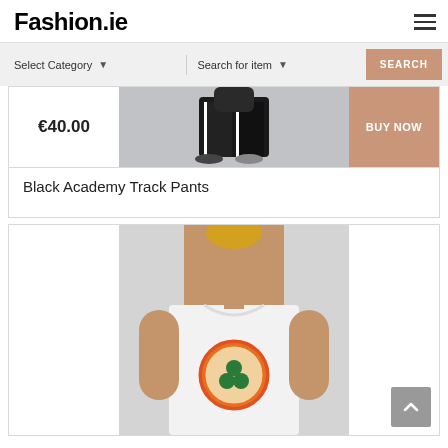Fashion.ie
[Figure (screenshot): Search bar with Select Category dropdown, Search for item dropdown, and SEARCH button on beige/salmon background]
[Figure (photo): Product card showing Black Academy Track Pants with price €40.00 and BUY NOW button]
Black Academy Track Pants
[Figure (photo): Product card showing a female model wearing a white Adidas Originals graphic t-shirt with colorful circle logo]